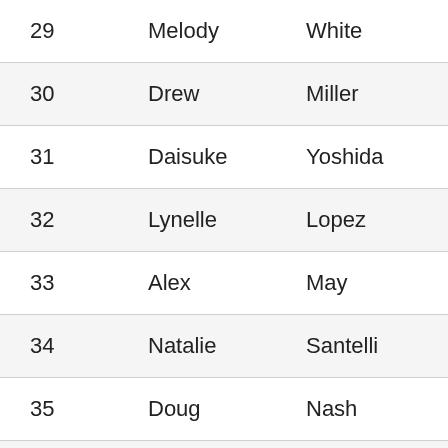| 29 | Melody | White | 00:27:19 | 00:27 |
| 30 | Drew | Miller | 00:22:06 | 00:22 |
| 31 | Daisuke | Yoshida | 00:21:25 | 00:21 |
| 32 | Lynelle | Lopez | 00:21:42 | 00:21 |
| 33 | Alex | May | 00:20:52 | 00:20 |
| 34 | Natalie | Santelli | 00:26:07 | 00:26 |
| 35 | Doug | Nash | 00:28:43 | 00:28 |
| 36 | Greg | Smith | 00:24:20 | 00:24 |
| 37 | Dan | DeVries | 00:27:06 | 00:27 |
| 38 | Javi | Ospina | 00:29:15 | 00:29 |